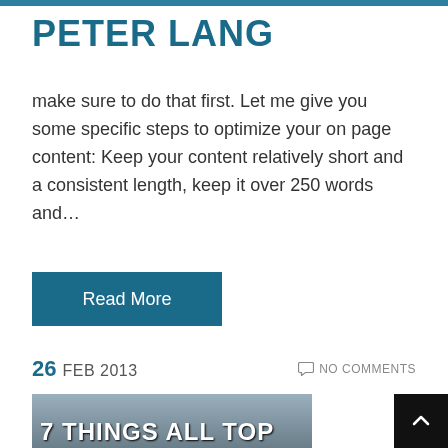PETER LANG
make sure to do that first. Let me give you some specific steps to optimize your on page content: Keep your content relatively short and a consistent length, keep it over 250 words and…
Read More
26 FEB 2013   NO COMMENTS
[Figure (photo): Blog post thumbnail image showing a person holding a laptop with overlay text '7 THINGS ALL TOP']